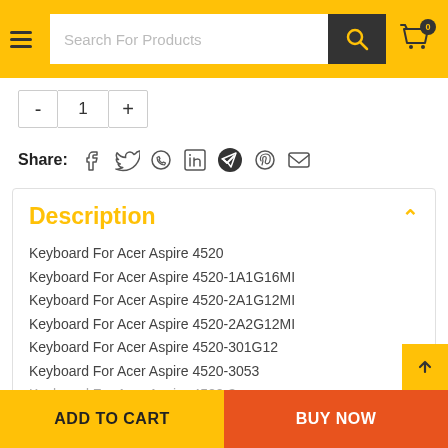Search For Products
- 1 +
Share:
Description
Keyboard For Acer Aspire 4520
Keyboard For Acer Aspire 4520-1A1G16MI
Keyboard For Acer Aspire 4520-2A1G12MI
Keyboard For Acer Aspire 4520-2A2G12MI
Keyboard For Acer Aspire 4520-301G12
Keyboard For Acer Aspire 4520-3053
ADD TO CART
BUY NOW